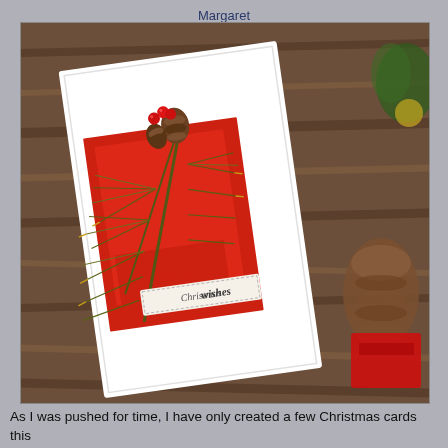Margaret
[Figure (photo): A handmade Christmas card featuring pine branches with gold glitter tips, pine cones, and red berries on a red layered paper background on a white card. A 'Christmas wishes' sentiment label is attached. The card is photographed on a wooden surface next to Christmas decorations including a large pine cone, red ribbon, and greenery with gold ornaments. Watermark reads '©Margaret Cleland mannyz paper games'.]
As I was pushed for time, I have only created a few Christmas cards this